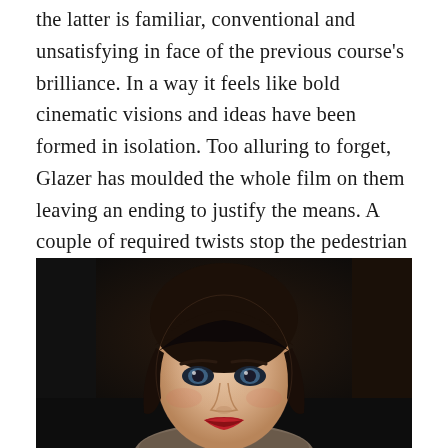the latter is familiar, conventional and unsatisfying in face of the previous course's brilliance. In a way it feels like bold cinematic visions and ideas have been formed in isolation. Too alluring to forget, Glazer has moulded the whole film on them leaving an ending to justify the means. A couple of required twists stop the pedestrian pace from terminally beaching the narrative, but excitement remains elusive as the film trudges on with little purpose emanating from its latter segments.
[Figure (photo): Close-up portrait of a dark-haired woman with bangs and striking blue eyes, wearing red lipstick and a fur-collared coat, photographed against a dark background in a cinematic style.]